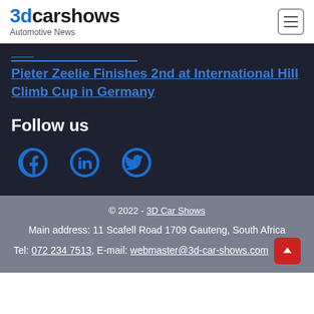3dcarshows — Automotive News
Pieter Zeelie Finishes 2nd at International Hill Climb Cup in Germany
Follow us
[Figure (other): Social media icons: Facebook, LinkedIn, Twitter]
© 2022 - 3D Car Shows
Main address: 11 Scafell Road 1709 Gauteng, South Africa
Tel: 072 234 7513, E-mail: webmaster@3d-car-shows.com